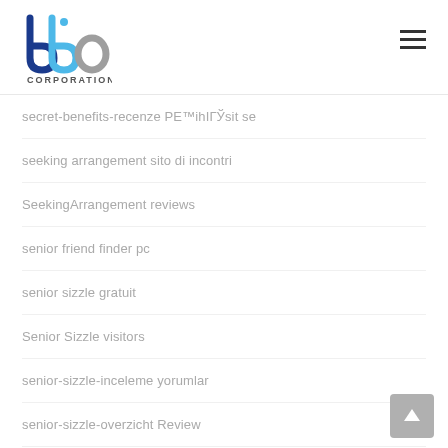bbp CORPORATION
secret-benefits-recenze PЕ™ihIГЎsit se
seeking arrangement sito di incontri
SeekingArrangement reviews
senior friend finder pc
senior sizzle gratuit
Senior Sizzle visitors
senior-sizzle-inceleme yorumlar
senior-sizzle-overzicht Review
senior-sizzle-recenze MobilnГ­ strГЎnka
seniorblackpeoplemeet-inceleme visitors